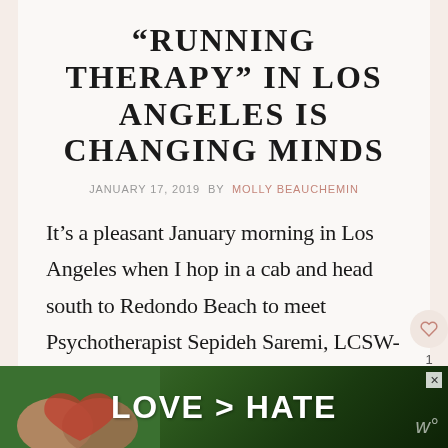“RUNNING THERAPY” IN LOS ANGELES IS CHANGING MINDS
JANUARY 17, 2019 BY MOLLY BEAUCHEMIN
It’s a pleasant January morning in Los Angeles when I hop in a cab and head south to Redondo Beach to meet Psychotherapist Sepideh Saremi, LCSW- a woman who offers a signature blend of
[Figure (photo): Advertisement banner showing two hands forming a heart shape against a green outdoor background with text LOVE > HATE]